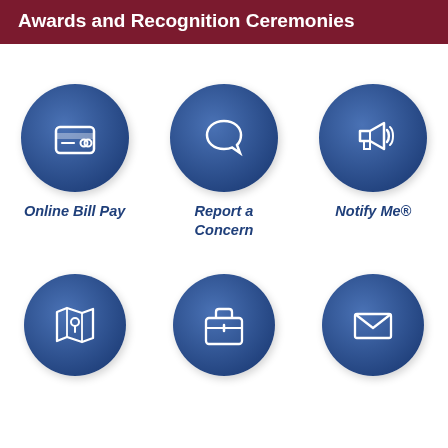Awards and Recognition Ceremonies
[Figure (infographic): Three circular blue icon buttons in a row: Online Bill Pay (credit card icon), Report a Concern (speech bubble icon), Notify Me® (megaphone icon). Below, three more partial circular blue icon buttons: map/location icon, briefcase/suitcase icon, envelope/mail icon.]